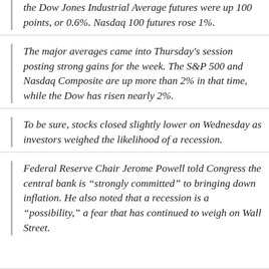the Dow Jones Industrial Average futures were up 100 points, or 0.6%. Nasdaq 100 futures rose 1%.
The major averages came into Thursday's session posting strong gains for the week. The S&P 500 and Nasdaq Composite are up more than 2% in that time, while the Dow has risen nearly 2%.
To be sure, stocks closed slightly lower on Wednesday as investors weighed the likelihood of a recession.
Federal Reserve Chair Jerome Powell told Congress the central bank is “strongly committed” to bringing down inflation. He also noted that a recession is a “possibility,” a fear that has continued to weigh on Wall Street.